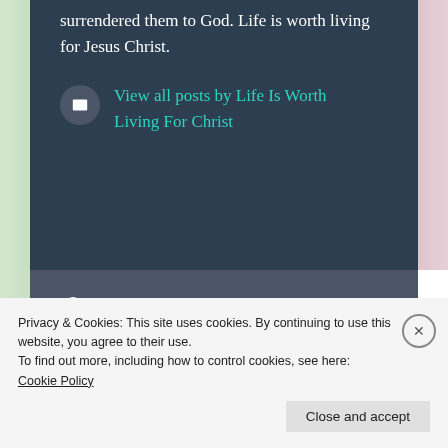surrendered them to God. Life is worth living for Jesus Christ.
View all posts by Life Is Worth Living For Christ
August 14, 2021
family, God got you, inspirational
#family #celebration #love #peace #grateful #Godgotyou #GlorytoGod
I, Isaac, take thee, Rebekah (favorite book)
Privacy & Cookies: This site uses cookies. By continuing to use this website, you agree to their use.
To find out more, including how to control cookies, see here: Cookie Policy
Close and accept